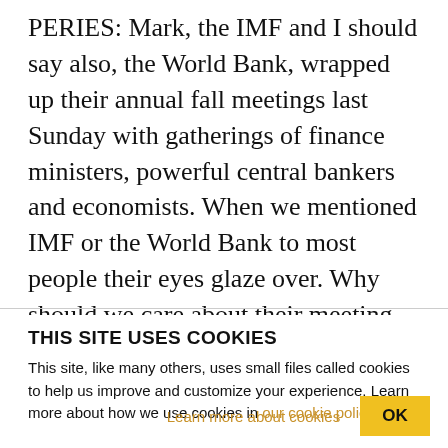PERIES: Mark, the IMF and I should say also, the World Bank, wrapped up their annual fall meetings last Sunday with gatherings of finance ministers, powerful central bankers and economists. When we mentioned IMF or the World Bank to most people their eyes glaze over. Why should we care about their meeting, and why are these meetings so significant for all of us? MARK WEISBROT: Well, the IMF is really the most powerful financial institution in the world in many ways. It has an enormous influence on policy. Even in Europe where it's really the
THIS SITE USES COOKIES
This site, like many others, uses small files called cookies to help us improve and customize your experience. Learn more about how we use cookies in our cookie policy.
Learn more about cookies
OK